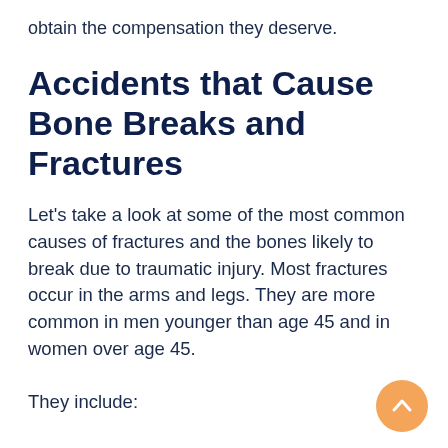obtain the compensation they deserve.
Accidents that Cause Bone Breaks and Fractures
Let’s take a look at some of the most common causes of fractures and the bones likely to break due to traumatic injury. Most fractures occur in the arms and legs. They are more common in men younger than age 45 and in women over age 45.
They include: